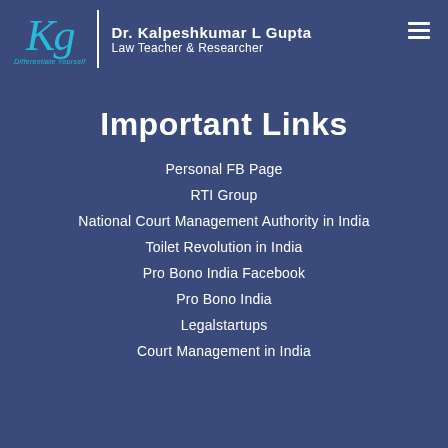Dr. Kalpeshkumar L Gupta | Law Teacher & Researcher
Important Links
Personal FB Page
RTI Group
National Court Management Authority in India
Toilet Revolution in India
Pro Bono India Facebook
Pro Bono India
Legalstartups
Court Management in India